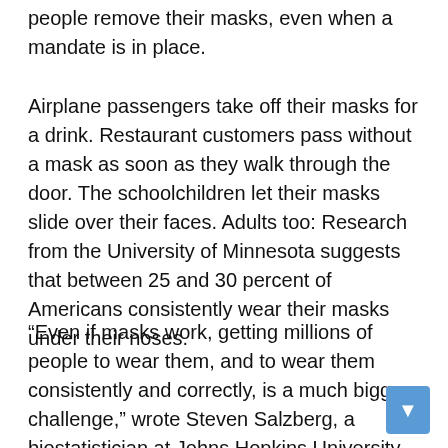people remove their masks, even when a mandate is in place.
Airplane passengers take off their masks for a drink. Restaurant customers pass without a mask as soon as they walk through the door. The schoolchildren let their masks slide over their faces. Adults too: Research from the University of Minnesota suggests that between 25 and 30 percent of Americans consistently wear their masks under their noses.
“Even if masks work, getting millions of people to wear them, and to wear them consistently and correctly, is a much bigger challenge,” wrote Steven Salzberg, a biostatistician at Johns Hopkins University. Part of the problem, Salzberg